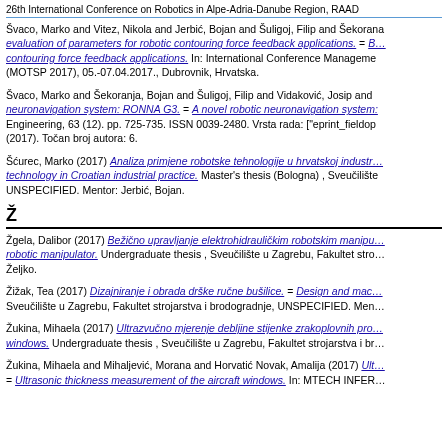26th International Conference on Robotics in Alpe-Adria-Danube Region, RAAD
Švaco, Marko and Vitez, Nikola and Jerbić, Bojan and Šuligoj, Filip and Šekoranja, … evaluation of parameters for robotic contouring force feedback applications. = B… contouring force feedback applications. In: International Conference Management (MOTSP 2017), 05.-07.04.2017., Dubrovnik, Hrvatska.
Švaco, Marko and Šekoranja, Bojan and Šuligoj, Filip and Vidaković, Josip and … neuronavigation system: RONNA G3. = A novel robotic neuronavigation system: … Engineering, 63 (12). pp. 725-735. ISSN 0039-2480. Vrsta rada: ["eprint_fieldop… (2017). Točan broj autora: 6.
Šćurec, Marko (2017) Analiza primjene robotske tehnologije u hrvatskoj industra… technology in Croatian industrial practice. Master's thesis (Bologna) , Sveučilište UNSPECIFIED. Mentor: Jerbić, Bojan.
Ž
Žgela, Dalibor (2017) Bežično upravljanje elektrohidrauličkim robotskim manipu… robotic manipulator. Undergraduate thesis , Sveučilište u Zagrebu, Fakultet stro… Željko.
Žižak, Tea (2017) Dizajniranje i obrada drške ručne bušilice. = Design and mac… Sveučilište u Zagrebu, Fakultet strojarstva i brodogradnje, UNSPECIFIED. Men…
Žukina, Mihaela (2017) Ultrazvučno mjerenje debljine stijenke zrakoplovnih pro… windows. Undergraduate thesis , Sveučilište u Zagrebu, Fakultet strojarstva i br…
Žukina, Mihaela and Mihaljević, Morana and Horvatić Novak, Amalija (2017) Ult… = Ultrasonic thickness measurement of the aircraft windows. In: MTECH INFER…